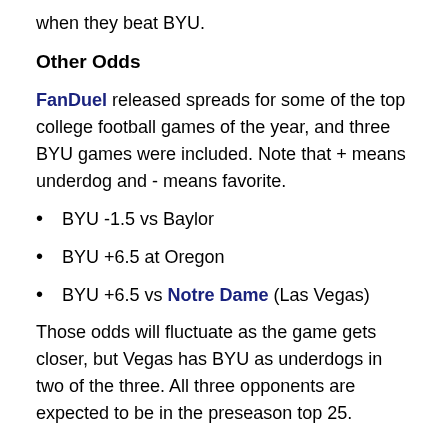when they beat BYU.
Other Odds
FanDuel released spreads for some of the top college football games of the year, and three BYU games were included. Note that + means underdog and - means favorite.
BYU -1.5 vs Baylor
BYU +6.5 at Oregon
BYU +6.5 vs Notre Dame (Las Vegas)
Those odds will fluctuate as the game gets closer, but Vegas has BYU as underdogs in two of the three. All three opponents are expected to be in the preseason top 25.